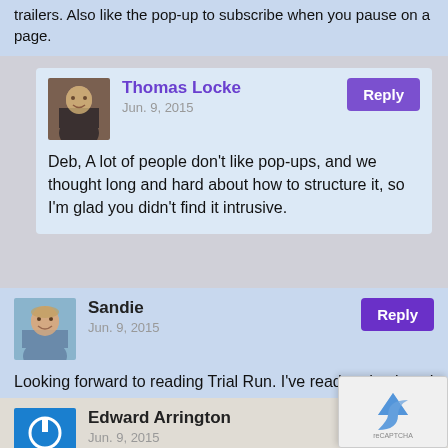trailers. Also like the pop-up to subscribe when you pause on a page.
Thomas Locke
Jun. 9, 2015
Deb, A lot of people don't like pop-ups, and we thought long and hard about how to structure it, so I'm glad you didn't find it intrusive.
Sandie
Jun. 9, 2015
Looking forward to reading Trial Run. I've read and enjoyed almost every single book written by Davis Bunn!
Edward Arrington
Jun. 9, 2015